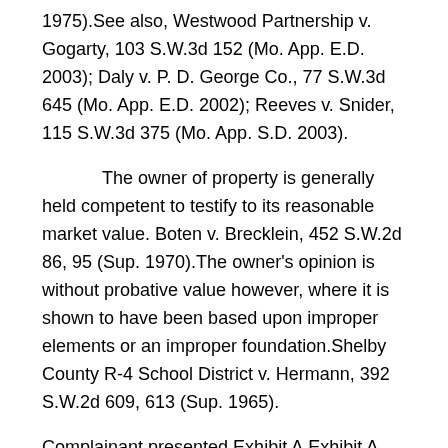1975).See also, Westwood Partnership v. Gogarty, 103 S.W.3d 152 (Mo. App. E.D. 2003); Daly v. P. D. George Co., 77 S.W.3d 645 (Mo. App. E.D. 2002); Reeves v. Snider, 115 S.W.3d 375 (Mo. App. S.D. 2003).
The owner of property is generally held competent to testify to its reasonable market value. Boten v. Brecklein, 452 S.W.2d 86, 95 (Sup. 1970).The owner's opinion is without probative value however, where it is shown to have been based upon improper elements or an improper foundation.Shelby County R-4 School District v. Hermann, 392 S.W.2d 609, 613 (Sup. 1965).
Complainant presented Exhibit A.Exhibit A consisted of a summary by the Complainant of home sale listings and copies of the listings.Exhibit A also contained property record card of two properties from the St. Charles County Assessor's Office.The property record cards listed sales of those properties in 2003 and